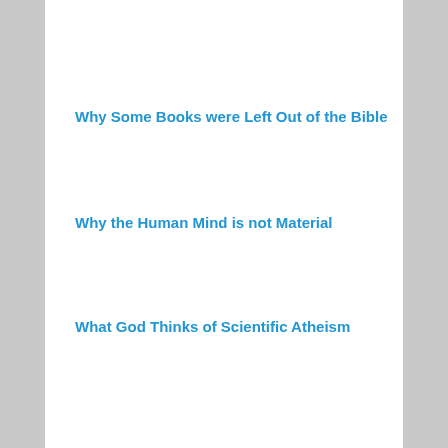Why Some Books were Left Out of the Bible
Why the Human Mind is not Material
What God Thinks of Scientific Atheism
For the Love of the Creator
An Essential Component of a Modern Education